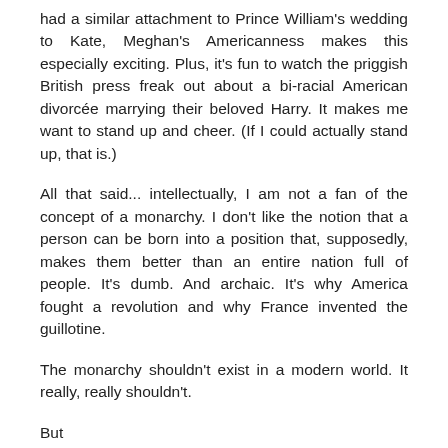had a similar attachment to Prince William's wedding to Kate, Meghan's Americanness makes this especially exciting. Plus, it's fun to watch the priggish British press freak out about a bi-racial American divorcée marrying their beloved Harry. It makes me want to stand up and cheer. (If I could actually stand up, that is.)
All that said... intellectually, I am not a fan of the concept of a monarchy. I don't like the notion that a person can be born into a position that, supposedly, makes them better than an entire nation full of people. It's dumb. And archaic. It's why America fought a revolution and why France invented the guillotine.
The monarchy shouldn't exist in a modern world. It really, really shouldn't.
But